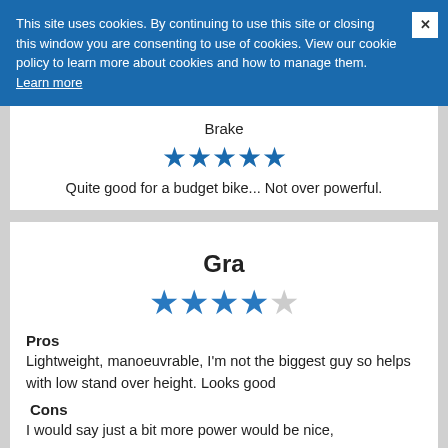This site uses cookies. By continuing to use this site or closing this window you are consenting to use of cookies. View our cookie policy to learn more about cookies and how to manage them. Learn more
Brake
[Figure (other): 5 filled blue stars rating]
Quite good for a budget bike... Not over powerful.
Gra
[Figure (other): 4 filled blue stars and 1 empty star rating]
Pros
Lightweight, manoeuvrable, I'm not the biggest guy so helps with low stand over height. Looks good
Cons
I would say just a bit more power would be nice,